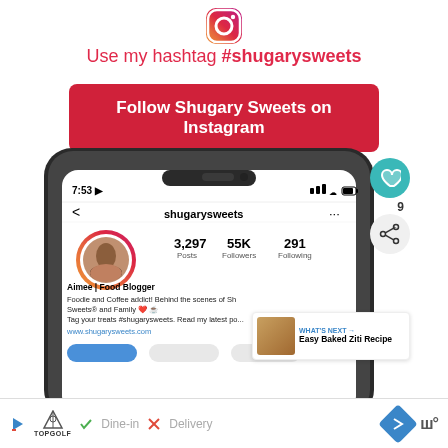[Figure (logo): Instagram icon in pink/red gradient]
Use my hashtag #shugarysweets
Follow Shugary Sweets on Instagram
[Figure (screenshot): Screenshot of shugarysweets Instagram profile on a smartphone showing 3,297 Posts, 55K Followers, 291 Following. Bio: Aimee | Food Blogger. Foodie and Coffee addict! Behind the scenes of Shugary Sweets® and Family ❤️ ☕ Tag your treats #shugarysweets. Read my latest po... www.shugarysweets.com]
[Figure (screenshot): Ad bar at bottom showing TopGolf: Dine-in, Delivery]